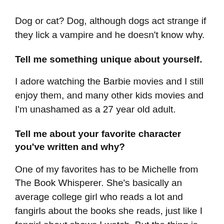Dog or cat? Dog, although dogs act strange if they lick a vampire and he doesn't know why.
Tell me something unique about yourself.
I adore watching the Barbie movies and I still enjoy them, and many other kids movies and I'm unashamed as a 27 year old adult.
Tell me about your favorite character you've written and why?
One of my favorites has to be Michelle from The Book Whisperer. She's basically an average college girl who reads a lot and fangirls about the books she reads, just like I fangirl about shows I watch. But the thing is, that she's totally normal; not very active and extremely shy, so she's a lot like me. Except that she has the power to